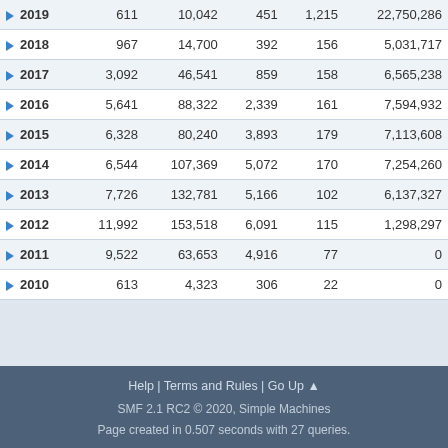| Year |  |  |  |  |  |
| --- | --- | --- | --- | --- | --- |
| 2019 | 611 | 10,042 | 451 | 1,215 | 22,750,286 |
| 2018 | 967 | 14,700 | 392 | 156 | 5,031,717 |
| 2017 | 3,092 | 46,541 | 859 | 158 | 6,565,238 |
| 2016 | 5,641 | 88,322 | 2,339 | 161 | 7,594,932 |
| 2015 | 6,328 | 80,240 | 3,893 | 179 | 7,113,608 |
| 2014 | 6,544 | 107,369 | 5,072 | 170 | 7,254,260 |
| 2013 | 7,726 | 132,781 | 5,166 | 102 | 6,137,327 |
| 2012 | 11,992 | 153,518 | 6,091 | 115 | 1,298,297 |
| 2011 | 9,522 | 63,653 | 4,916 | 77 | 0 |
| 2010 | 613 | 4,323 | 306 | 22 | 0 |
Help | Terms and Rules | Go Up ▲
SMF 2.1 RC2 © 2020, Simple Machines
Page created in 0.507 seconds with 27 queries.